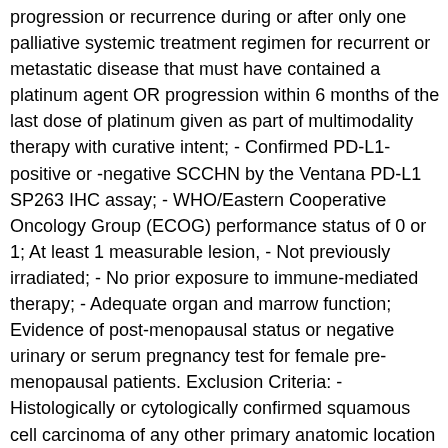progression or recurrence during or after only one palliative systemic treatment regimen for recurrent or metastatic disease that must have contained a platinum agent OR progression within 6 months of the last dose of platinum given as part of multimodality therapy with curative intent; - Confirmed PD-L1-positive or -negative SCCHN by the Ventana PD-L1 SP263 IHC assay; - WHO/Eastern Cooperative Oncology Group (ECOG) performance status of 0 or 1; At least 1 measurable lesion, - Not previously irradiated; - No prior exposure to immune-mediated therapy; - Adequate organ and marrow function; Evidence of post-menopausal status or negative urinary or serum pregnancy test for female pre-menopausal patients. Exclusion Criteria: - Histologically or cytologically confirmed squamous cell carcinoma of any other primary anatomic location in the head and neck; - Received more than 1 palliative systemic regimen for recurrent or metastatic disease; -Any concurrent chemotherapy, Investigational Product, biologic, or hormonal therapy for cancer treatment; - Receipt of any investigational anticancer therapy within 28 days or 5 half-lives; - Receipt of last dose of an approved (marketed)